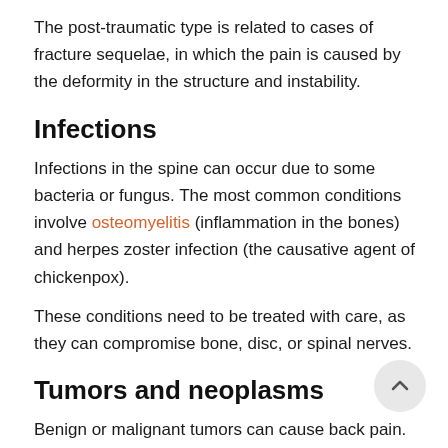The post-traumatic type is related to cases of fracture sequelae, in which the pain is caused by the deformity in the structure and instability.
Infections
Infections in the spine can occur due to some bacteria or fungus. The most common conditions involve osteomyelitis (inflammation in the bones) and herpes zoster infection (the causative agent of chickenpox).
These conditions need to be treated with care, as they can compromise bone, disc, or spinal nerves.
Tumors and neoplasms
Benign or malignant tumors can cause back pain. When